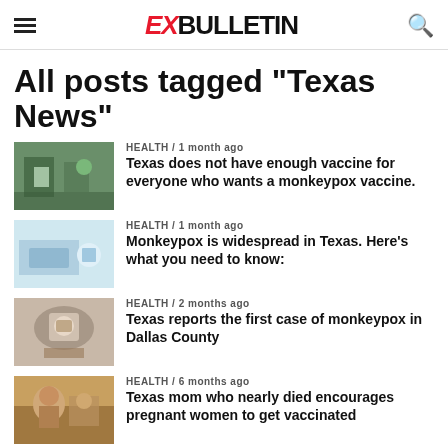EX BULLETIN
All posts tagged "Texas News"
HEALTH / 1 month ago
Texas does not have enough vaccine for everyone who wants a monkeypox vaccine.
HEALTH / 1 month ago
Monkeypox is widespread in Texas. Here's what you need to know:
HEALTH / 2 months ago
Texas reports the first case of monkeypox in Dallas County
HEALTH / 6 months ago
Texas mom who nearly died encourages pregnant women to get vaccinated
HEALTH / 8 months ago
Omicron could hit the hardest of low-income uninsured Texans